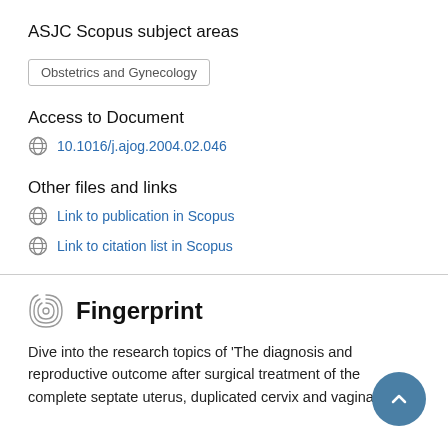ASJC Scopus subject areas
Obstetrics and Gynecology
Access to Document
10.1016/j.ajog.2004.02.046
Other files and links
Link to publication in Scopus
Link to citation list in Scopus
Fingerprint
Dive into the research topics of 'The diagnosis and reproductive outcome after surgical treatment of the complete septate uterus, duplicated cervix and vaginal